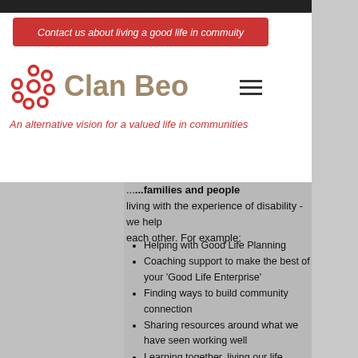Contact us about living a good life in commuity
[Figure (logo): Clan Beo logo with circular flower/dot pattern in red]
Clan Beo
An alternative vision for a valued life in communities
Clan Beo is a collaborative of families and people living with the experience of disability - we help each other. For example;
Helping with Good Life Planning
Coaching support to make the best of your 'Good Life Enterprise'
Finding ways to build community connection
Sharing resources around what we have seen working well
Learning together, living our life, making mistakes
Contact us about a Kitchen Table Session
With people using servcies